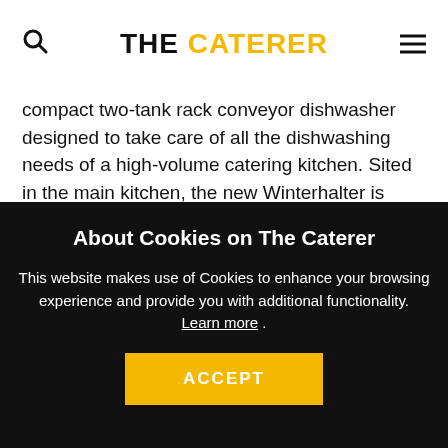THE CATERER
compact two-tank rack conveyor dishwasher designed to take care of all the dishwashing needs of a high-volume catering kitchen. Sited in the main kitchen, the new Winterhalter is working from 8am till 10.30pm. On a busy day it needs to process about 250 covers, plus glasses and sundry items from the bar, and can wash from 115 to 130 (500mm x 500mm) racks per hour. The physical size of the machine versus throughput was another deciding factor in favour of the MTR2, as space
About Cookies on The Caterer
This website makes use of Cookies to enhance your browsing experience and provide you with additional functionality. Learn more .